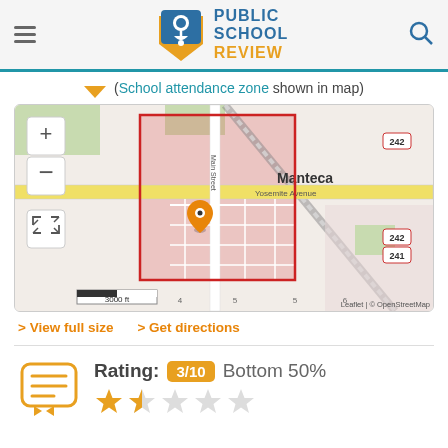Public School Review - Est. 2003
(School attendance zone shown in map)
[Figure (map): Street map of Manteca area showing school attendance zone highlighted in red/pink. Includes zoom controls (+/-), fullscreen button, scale bar showing 3000 ft, map pin marker, and Leaflet / OpenStreetMap attribution. Streets visible include Yosemite Avenue. Route numbers 242, 241 visible.]
> View full size  > Get directions
Rating: 3/10  Bottom 50%